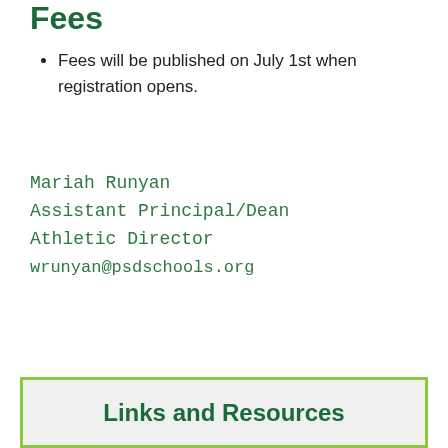Fees
Fees will be published on July 1st when registration opens.
Mariah Runyan
Assistant Principal/Dean
Athletic Director
wrunyan@psdschools.org
Links and Resources